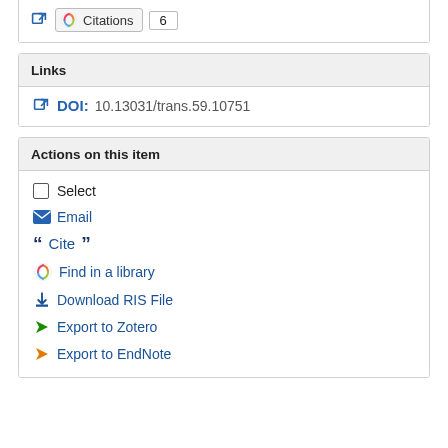Citations 6
Links
DOI: 10.13031/trans.59.10751
Actions on this item
Select
Email
Cite
Find in a library
Download RIS File
Export to Zotero
Export to EndNote